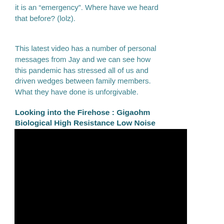it is an “emergency”. Where have we heard that before? (lolz).
This latest video has a number of personal messages from Jay and we can see how this pandemic has stressed all of us and driven wedges between family members. What they have done is unforgivable.
Looking into the Firehose : Gigaohm Biological High Resistance Low Noise Information Brief (3:08)
[Figure (screenshot): Black video thumbnail/embed placeholder]